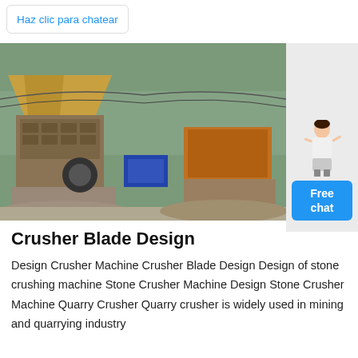Haz clic para chatear
[Figure (photo): Outdoor stone crusher machines at a quarry site with heavy machinery, conveyor belts, and rocky terrain in the background.]
Crusher Blade Design
Design Crusher Machine Crusher Blade Design Design of stone crushing machine Stone Crusher Machine Design Stone Crusher Machine Quarry Crusher Quarry crusher is widely used in mining and quarrying industry